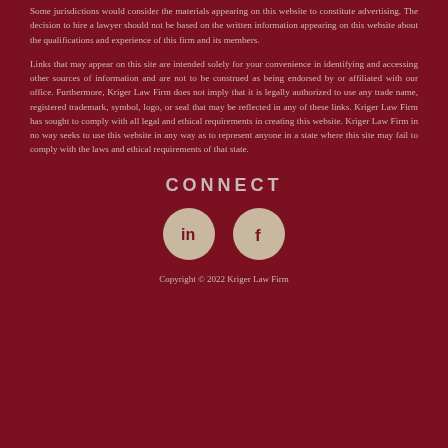Some jurisdictions would consider the materials appearing on this website to constitute advertising. The decision to hire a lawyer should not be based on the written information appearing on this website about the qualifications and experience of this firm and its members.
Links that may appear on this site are intended solely for your convenience in identifying and accessing other sources of information and are not to be construed as being endorsed by or affiliated with our office. Furthermore, Kriger Law Firm does not imply that it is legally authorized to use any trade name, registered trademark, symbol, logo, or seal that may be reflected in any of these links. Kriger Law Firm has sought to comply with all legal and ethical requirements in creating this website. Kriger Law Firm in no way seeks to use this website in any way as to represent anyone in a state where this site may fail to comply with the laws and ethical requirements of that state.
CONNECT
[Figure (illustration): Two circular social media icons on dark red background: LinkedIn (in) and Facebook (f), both in beige/tan color.]
Copyright © 2022 Kriger Law Firm